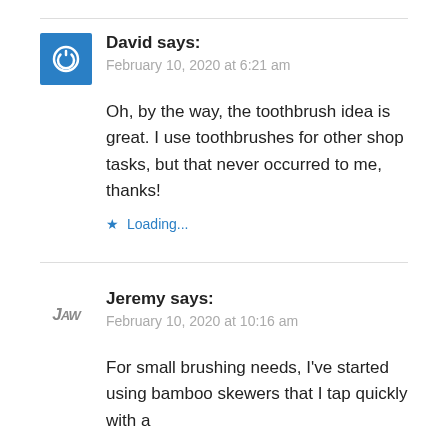David says:
February 10, 2020 at 6:21 am
Oh, by the way, the toothbrush idea is great. I use toothbrushes for other shop tasks, but that never occurred to me, thanks!
Loading...
Jeremy says:
February 10, 2020 at 10:16 am
For small brushing needs, I've started using bamboo skewers that I tap quickly with a